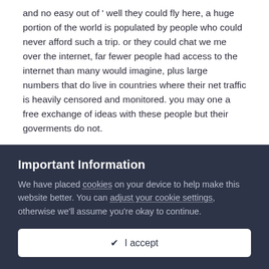and no easy out of ' well they could fly here, a huge portion of the world is populated by people who could never afford such a trip. or they could chat we me over the internet, far fewer people had access to the internet than many would imagine, plus large numbers that do live in countries where their net traffic is heavily censored and monitored. you may one a free exchange of ideas with these people but their goverments do not.
and for many the depiction of your nation they recieve is totally squed by their media sources.
also simply many people would but forth no more effort to know you than watch a movie or show.
Important Information
We have placed cookies on your device to help make this website better. You can adjust your cookie settings, otherwise we'll assume you're okay to continue.
✔ I accept